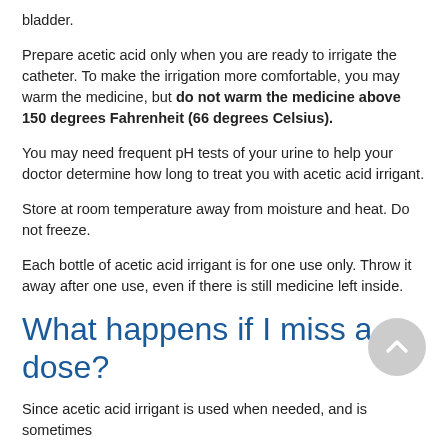bladder.
Prepare acetic acid only when you are ready to irrigate the catheter. To make the irrigation more comfortable, you may warm the medicine, but do not warm the medicine above 150 degrees Fahrenheit (66 degrees Celsius).
You may need frequent pH tests of your urine to help your doctor determine how long to treat you with acetic acid irrigant.
Store at room temperature away from moisture and heat. Do not freeze.
Each bottle of acetic acid irrigant is for one use only. Throw it away after one use, even if there is still medicine left inside.
What happens if I miss a dose?
Since acetic acid irrigant is used when needed, and is sometimes